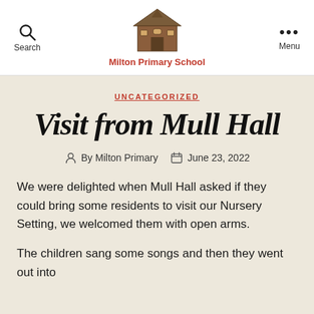Milton Primary School — Search | Menu
UNCATEGORIZED
Visit from Mull Hall
By Milton Primary   June 23, 2022
We were delighted when Mull Hall asked if they could bring some residents to visit our Nursery Setting, we welcomed them with open arms.
The children sang some songs and then they went out into